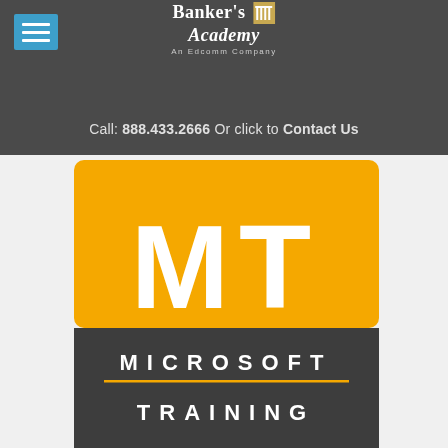Banker's Academy — An Edcomm Company
Call: 888.433.2666 Or click to Contact Us
[Figure (logo): Microsoft Training logo with gold/yellow square containing white 'MT' letters above a dark grey rectangle with 'MICROSOFT TRAINING' text separated by a gold horizontal line]